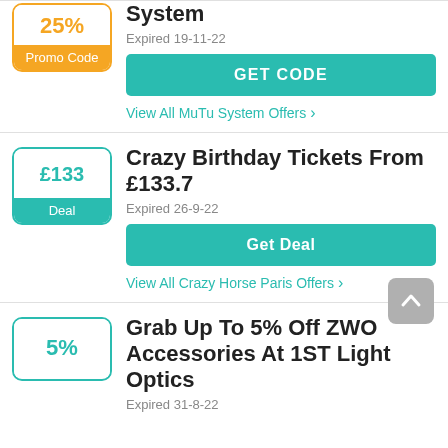[Figure (other): Promo Code badge showing 25% in orange with orange 'Promo Code' label at bottom]
System
Expired 19-11-22
GET CODE
View All MuTu System Offers >
[Figure (other): Deal badge showing £133 in teal with teal 'Deal' label at bottom]
Crazy Birthday Tickets From £133.7
Expired 26-9-22
Get Deal
View All Crazy Horse Paris Offers >
[Figure (other): Deal badge showing 5% in teal]
Grab Up To 5% Off ZWO Accessories At 1ST Light Optics
Expired 31-8-22